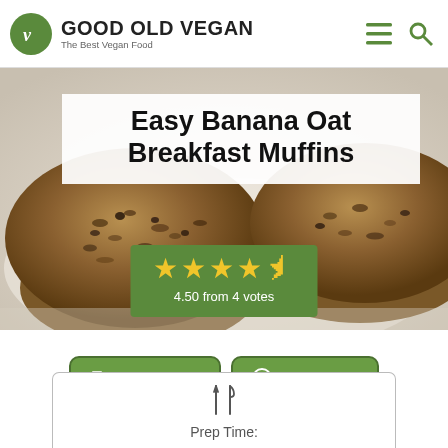GOOD OLD VEGAN – The Best Vegan Food
[Figure (photo): Close-up photo of a banana oat breakfast muffin with a granola/oat texture top, blurred background]
Easy Banana Oat Breakfast Muffins
4.50 from 4 votes
Print Recipe
Pin Recipe
Rate Recipe
Prep Time: